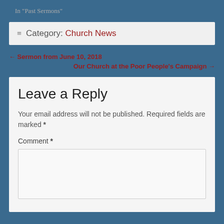In "Past Sermons"
Category: Church News
← Sermon from June 10, 2018
Our Church at the Poor People's Campaign →
Leave a Reply
Your email address will not be published. Required fields are marked *
Comment *